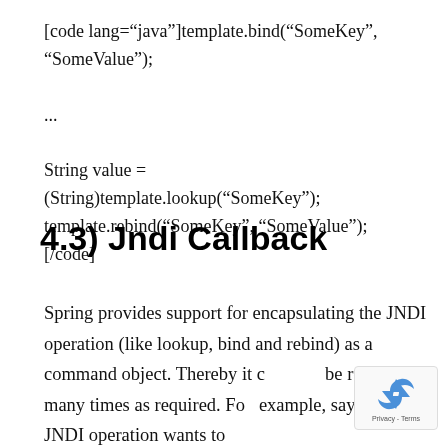[code lang="java"]template.bind("SomeKey", "SomeValue");

...

String value =
(String)template.lookup("SomeKey");
template.rebind("SomeKey", "SomeValue");
[/code]
4.3) Jndi Callback
Spring provides support for encapsulating the JNDI operation (like lookup, bind and rebind) as a command object. Thereby it can be reused as many times as required. For example, say that the JNDI operation wants to